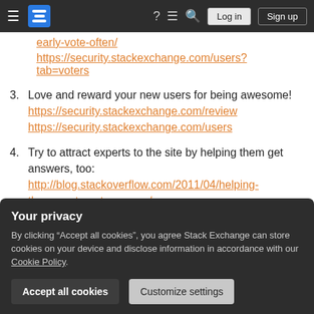Stack Exchange navigation bar with hamburger, logo, help, chat, search, Log in, Sign up
early-vote-often/ https://security.stackexchange.com/users?tab=voters
3. Love and reward your new users for being awesome! https://security.stackexchange.com/review https://security.stackexchange.com/users
4. Try to attract experts to the site by helping them get answers, too: http://blog.stackoverflow.com/2011/04/helping-the-experts-get-answers/
Your privacy
By clicking "Accept all cookies", you agree Stack Exchange can store cookies on your device and disclose information in accordance with our Cookie Policy.
Accept all cookies   Customize settings